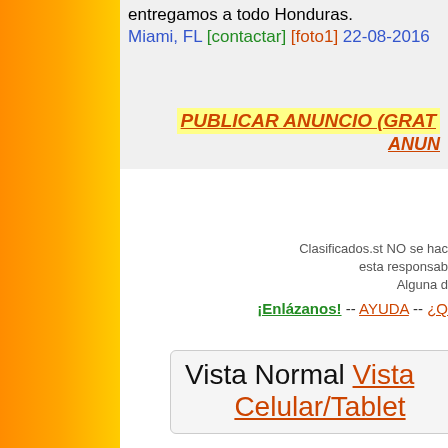entregamos a todo Honduras. Miami, FL [contactar] [foto1] 22-08-2016
PUBLICAR ANUNCIO (GRAT... ANUN...
Clasificados.st NO se hac... esta responsab... Alguna d...
¡Enlázanos! -- AYUDA -- ¿Q...
Vista Normal Vista Celular/Tablet